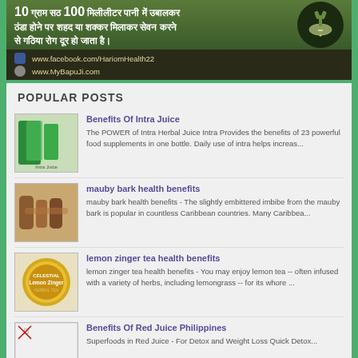[Figure (infographic): Health banner in Hindi text about boiling ginger in water with honey/sugar for arthritis remedy, with Facebook and website links. Dark olive/green background with mortar and pestle icon.]
POPULAR POSTS
[Figure (photo): Thumbnail image of Intra juice bottles - green herbal supplement bottles]
Benefits Of Intra Juice
The POWER of Intra Herbal Juice Intra Provides the benefits of 23 powerful food supplements in one bottle. Daily use of intra helps increas...
[Figure (photo): Thumbnail image of mauby bark - brown wood pieces]
mauby bark health benefits
mauby bark health benefits - The slightly embittered imbibe from the mauby bark is popular in countless Caribbean countries. Many Caribbea...
[Figure (photo): Thumbnail image of Celestial Lemon Zinger tea pod - round yellow/gold package]
lemon zinger tea health benefits
lemon zinger tea health benefits - You may enjoy lemon tea -- often infused with a variety of herbs, including lemongrass -- for its whore ...
[Figure (photo): Thumbnail image placeholder (broken image) for Benefits Of Red Juice Philippines]
Benefits Of Red Juice Philippines
Superfoods in Red Juice - For Detox and Weight Loss Quick Detox...